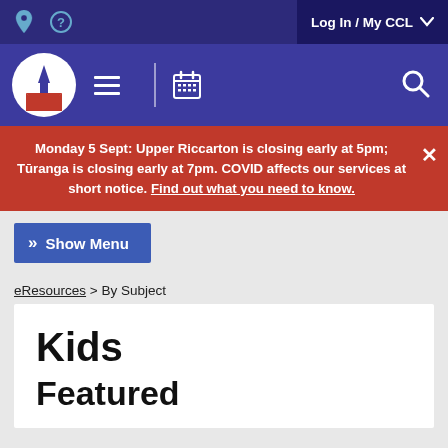Log In / My CCL
[Figure (logo): Christchurch City Libraries logo — white spire icon in a circle with navigation icons (hamburger menu, calendar) and search icon on a blue bar]
Monday 5 Sept: Upper Riccarton is closing early at 5pm; Tūranga is closing early at 7pm. COVID affects our services at short notice. Find out what you need to know.
Show Menu
eResources > By Subject
Kids
Featured